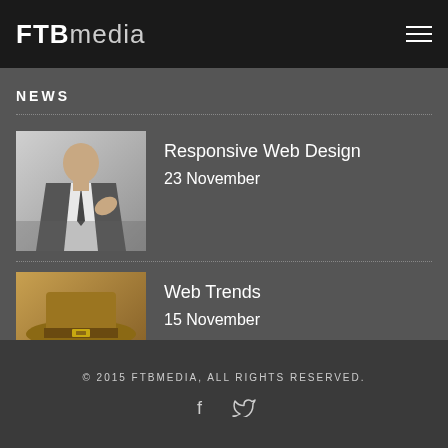FTBmedia
NEWS
Responsive Web Design
23 November
Web Trends
15 November
© 2015 FTBMEDIA, ALL RIGHTS RESERVED.